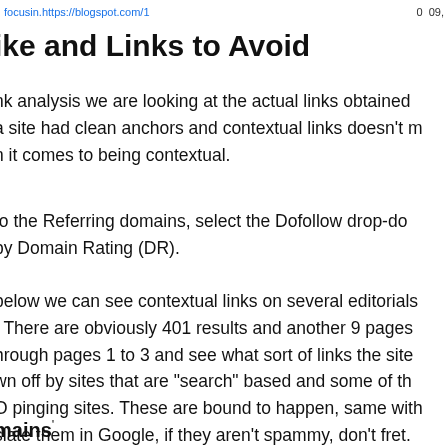focusin.https://blogspot.com/1    0  09,
ike and Links to Avoid
nk analysis we are looking at the actual links obtained a site had clean anchors and contextual links doesn't n it comes to being contextual.
to the Referring domains, select the Dofollow drop-do by Domain Rating (DR).
below we can see contextual links on several editorials . There are obviously 401 results and another 9 pages hrough pages 1 to 3 and see what sort of links the site
wn off by sites that are "search" based and some of th O pinging sites. These are bound to happen, same with slate them in Google, if they aren't spammy, don't fret.
mains